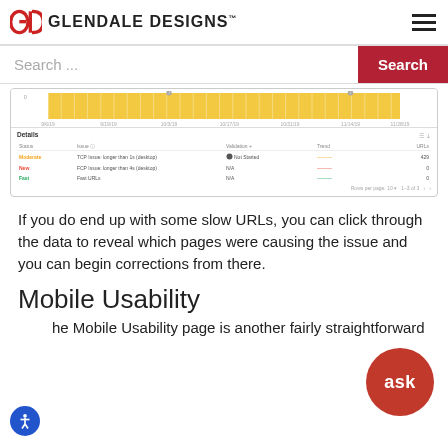GLENDALE DESIGNS™
[Figure (screenshot): Google Search Console screenshot showing a bar chart with yellow/orange bars over time (9/6/19 to 11/29/19), and a Details table below with columns: Status, Issue, Validation, Trend, URLs. Rows: Moderate - TCP Issue: longer than 1s (desktop) - Not Started - 429; New - FCP Issue: longer than 4s (desktop) - N/A - 0; Fast - Fast URLs - N/A - 0. Rows per page: 10, 1-3 of 3.]
If you do end up with some slow URLs, you can click through the data to reveal which pages were causing the issue and you can begin corrections from there.
Mobile Usability
he Mobile Usability page is another fairly straightforward